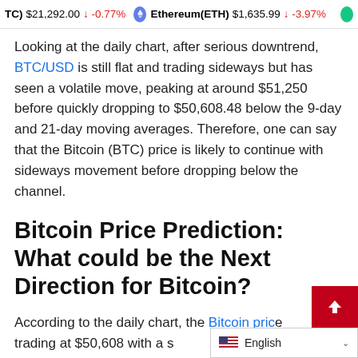TC) $21,292.00 ↓ -0.77%   Ethereum(ETH) $1,635.99 ↓ -3.97%
Looking at the daily chart, after serious downtrend, BTC/USD is still flat and trading sideways but has seen a volatile move, peaking at around $51,250 before quickly dropping to $50,608.48 below the 9-day and 21-day moving averages. Therefore, one can say that the Bitcoin (BTC) price is likely to continue with sideways movement before dropping below the channel.
Bitcoin Price Prediction: What could be the Next Direction for Bitcoin?
According to the daily chart, the Bitcoin price trading at $50,608 with a s...